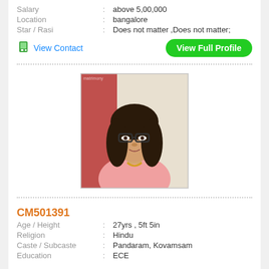Salary : above 5,00,000
Location : bangalore
Star / Rasi : Does not matter ,Does not matter;
View Contact
View Full Profile
[Figure (photo): Profile photo of a young woman wearing glasses and a pink outfit]
CM501391
Age / Height : 27yrs , 5ft 5in
Religion : Hindu
Caste / Subcaste : Pandaram, Kovamsam
Education : ECE